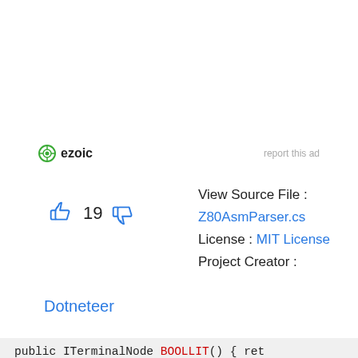[Figure (logo): Ezoic logo with green circle icon and bold 'ezoic' text, plus 'report this ad' text to the right]
[Figure (infographic): Thumbs up icon (blue outline), number 19, thumbs down icon (blue outline)]
View Source File :
Z80AsmParser.cs
License : MIT License
Project Creator :
Dotneteer
[Figure (screenshot): Code snippet: public ITerminalNode BOOLLIT() { ret]
[Figure (screenshot): Map ad showing: Ashburn OPEN 8AM-8PM, 20035 Ashbrook Common..., Smoothie King logo, navigation arrow icon, play button, X button, checkmark Dine-in]